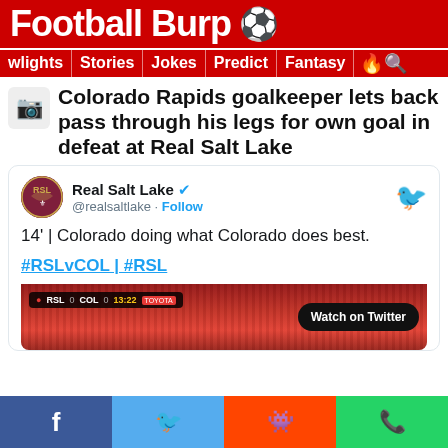Football Burp ⚽
wlights | Stories | Jokes | Predict | Fantasy 🔥🔍
Colorado Rapids goalkeeper lets back pass through his legs for own goal in defeat at Real Salt Lake
[Figure (screenshot): Embedded tweet from @realsaltlake (Real Salt Lake, verified) reading: '14' | Colorado doing what Colorado does best. #RSLvCOL | #RSL' with a video thumbnail showing RSL 0 COL 0 13:22 scoreboard and a 'Watch on Twitter' button.]
[Figure (infographic): Social share bar with Facebook (blue), Twitter (light blue), Reddit (orange), and WhatsApp (green) buttons.]